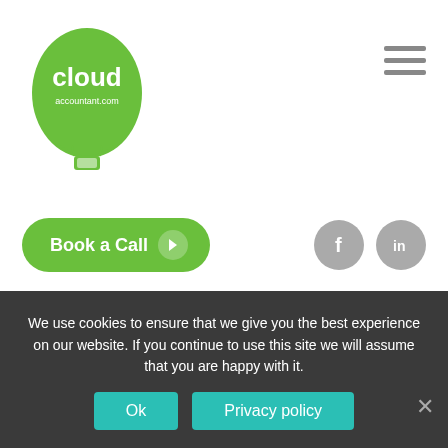[Figure (logo): Cloud Accountant hot air balloon logo in green with white text 'cloud accountant.com']
[Figure (other): Hamburger menu icon (three horizontal gray lines)]
[Figure (other): Green 'Book a Call' button with arrow circle]
[Figure (other): Facebook and LinkedIn social media circular icons in gray]
telephone conversation, and you wish to be able to rely on that advice, you must ask for the advice to be confirmed by us in writing.
We use cookies to ensure that we give you the best experience on our website. If you continue to use this site we will assume that you are happy with it.